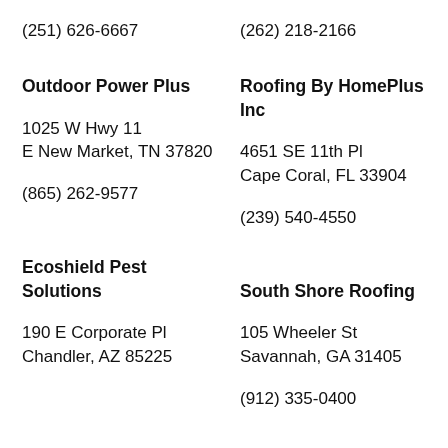(251) 626-6667
(262) 218-2166
Outdoor Power Plus
Roofing By HomePlus Inc
1025 W Hwy 11
E New Market, TN 37820
4651 SE 11th Pl
Cape Coral, FL 33904
(865) 262-9577
(239) 540-4550
Ecoshield Pest Solutions
South Shore Roofing
190 E Corporate Pl
Chandler, AZ 85225
105 Wheeler St
Savannah, GA 31405
(912) 335-0400